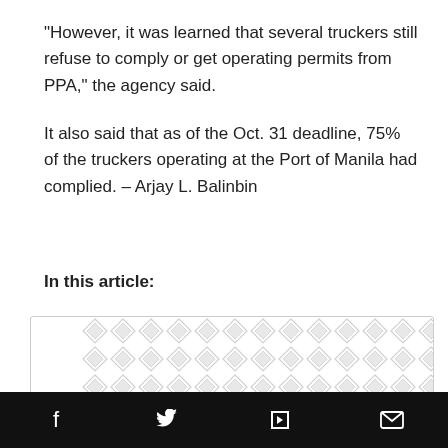“However, it was learned that several truckers still refuse to comply or get operating permits from PPA,” the agency said.
It also said that as of the Oct. 31 deadline, 75% of the truckers operating at the Port of Manila had complied. – Arjay L. Balinbin
In this article:
[Figure (other): Decorative diamond/cross hatch pattern background for a promotional card with text 'Get FREE ... ent r']